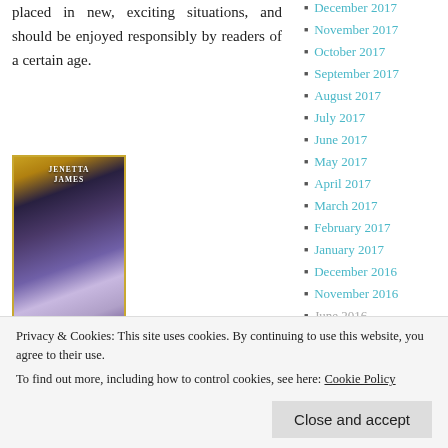placed in new, exciting situations, and should be enjoyed responsibly by readers of a certain age.
[Figure (photo): Book cover of 'The Memory House' by Jenetta James, showing a woman in a blue dress with gold ornate border, subtitle 'A Love Story in Two Acts']
The Memory House – 0,99$
December 2017
November 2017
October 2017
September 2017
August 2017
July 2017
June 2017
May 2017
April 2017
March 2017
February 2017
January 2017
December 2016
November 2016
June 2016
Privacy & Cookies: This site uses cookies. By continuing to use this website, you agree to their use.
To find out more, including how to control cookies, see here: Cookie Policy
Close and accept